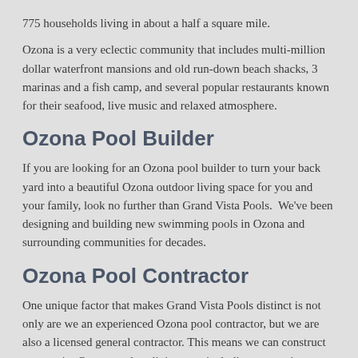775 households living in about a half a square mile.
Ozona is a very eclectic community that includes multi-million dollar waterfront mansions and old run-down beach shacks, 3 marinas and a fish camp, and several popular restaurants known for their seafood, live music and relaxed atmosphere.
Ozona Pool Builder
If you are looking for an Ozona pool builder to turn your back yard into a beautiful Ozona outdoor living space for you and your family, look no further than Grand Vista Pools.  We've been designing and building new swimming pools in Ozona and surrounding communities for decades.
Ozona Pool Contractor
One unique factor that makes Grand Vista Pools distinct is not only are we an experienced Ozona pool contractor, but we are also a licensed general contractor. This means we can construct your entire Ozona outdoor living area including renovations to your home to make your indoor